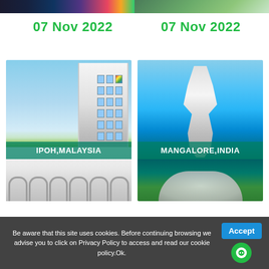[Figure (photo): Partial top strip of two images, left showing colorful city scene, right showing green landscape]
07 Nov 2022
07 Nov 2022
[Figure (photo): Travel destination card showing Ipoh, Malaysia - white colonial building and arched bridge]
[Figure (photo): Travel destination card showing Mangalore, India - large Shiva statue by the sea with circular temple structure]
Be aware that this site uses cookies. Before continuing browsing we advise you to click on Privacy Policy to access and read our cookie policy.Ok.